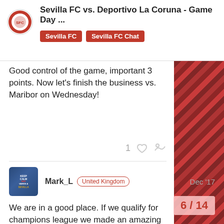Sevilla FC vs. Deportivo La Coruna - Game Day ...
Good control of the game, important 3 points. Now let's finish the business vs. Maribor on Wednesday!
Mark_L  United Kingdom  Dec '17
We are in a good place. If we qualify for champions league we made an amazing start in all comps! We still got copa del Raey too!

Once we get Real Madrid away game out the way, we got a great run of games. Plus we play all the big teams at home again later on! We still kept pace and only 8 behind Barca! We only 3 off valencia despi... awesome and us not at our b... grinded out most results, wh...
6 / 14